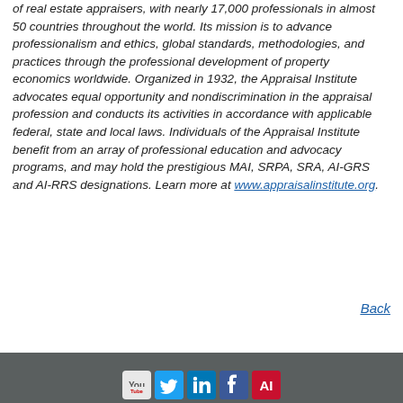of real estate appraisers, with nearly 17,000 professionals in almost 50 countries throughout the world. Its mission is to advance professionalism and ethics, global standards, methodologies, and practices through the professional development of property economics worldwide. Organized in 1932, the Appraisal Institute advocates equal opportunity and nondiscrimination in the appraisal profession and conducts its activities in accordance with applicable federal, state and local laws. Individuals of the Appraisal Institute benefit from an array of professional education and advocacy programs, and may hold the prestigious MAI, SRPA, SRA, AI-GRS and AI-RRS designations. Learn more at www.appraisalinstitute.org.
Back
[social media icons: YouTube, Twitter, LinkedIn, Facebook, AI]